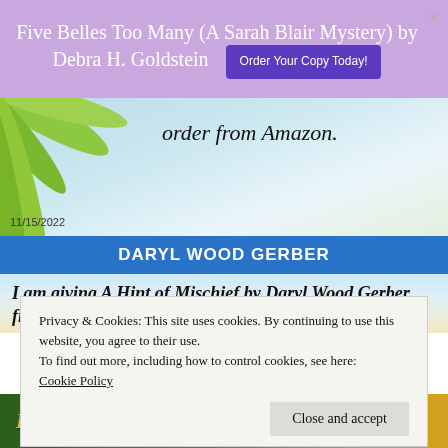Five Belles Too Many (A Sarah Blair Mystery) by Debra H. Goldstein
order from Amazon.
11/15/2022
DARYL WOOD GERBER
I am giving A Hint of Mischief by Daryl Wood Gerber five stars and a huge recommendation
Privacy & Cookies: This site uses cookies. By continuing to use this website, you agree to their use. To find out more, including how to control cookies, see here: Cookie Policy
Close and accept
[Figure (photo): Book cover strip at bottom showing Daryl Wood Gerber text in yellow on green/gold background]